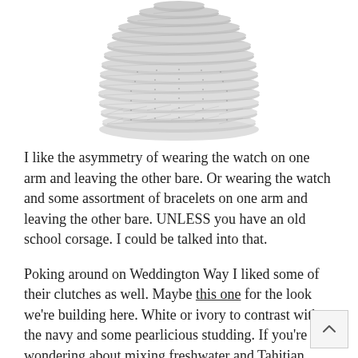[Figure (photo): A silver mesh/chain bracelet or watch band shown from above, displayed in a coiled/stacked arrangement against a white background.]
I like the asymmetry of wearing the watch on one arm and leaving the other bare. Or wearing the watch and some assortment of bracelets on one arm and leaving the other bare. UNLESS you have an old school corsage. I could be talked into that.
Poking around on Weddington Way I liked some of their clutches as well. Maybe this one for the look we're building here. White or ivory to contrast with the navy and some pearlicious studding. If you're wondering about mixing freshwater and Tahitian pearls, light and dark